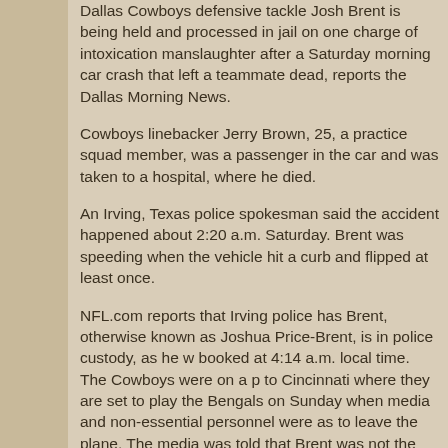Dallas Cowboys defensive tackle Josh Brent is being held and processed in jail on one charge of intoxication manslaughter after a Saturday morning car crash that left a teammate dead, reports the Dallas Morning News.
Cowboys linebacker Jerry Brown, 25, a practice squad member, was a passenger in the car and was taken to a hospital, where he died.
An Irving, Texas police spokesman said the accident happened about 2:20 a.m. Saturday. Brent was speeding when the vehicle hit a curb and flipped at least once.
NFL.com reports that Irving police has Brent, otherwise known as Joshua Price-Brent, is in police custody, as he was booked at 4:14 a.m. local time. The Cowboys were on a plane to Cincinnati where they are set to play the Bengals on Sunday when media and non-essential personnel were asked to leave the plane. The media was told that Brent was not on the charter.
"Officers at the scene believed alcohol was a contributing factor in the crash; therefore, Price-Brent was asked to perform field sobriety tests," a statement from the Irving Police Department said. "Based on the results of the tests along with the officer's observations and conversations with